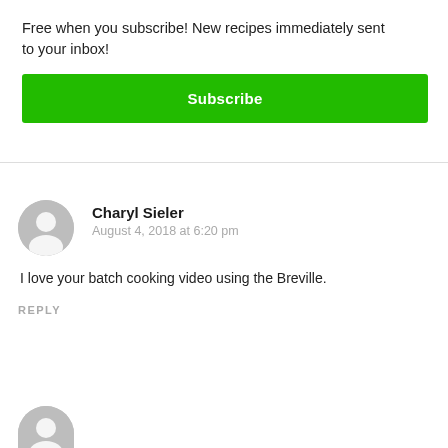Free when you subscribe! New recipes immediately sent to your inbox!
Subscribe
Charyl Sieler
August 4, 2018 at 6:20 pm
I love your batch cooking video using the Breville.
REPLY